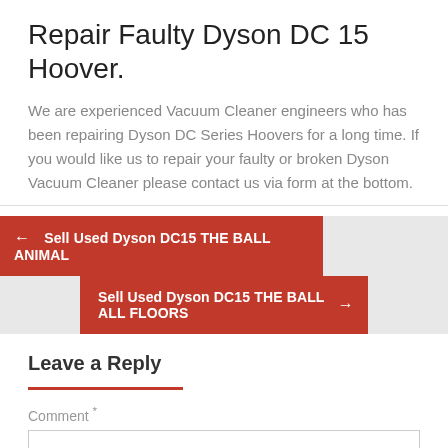Repair Faulty Dyson DC 15 Hoover.
We are experienced Vacuum Cleaner engineers who has been repairing Dyson DC Series Hoovers for a long time. If you would like us to repair your faulty or broken Dyson Vacuum Cleaner please contact us via form at the bottom.
← Sell Used Dyson DC15 THE BALL ANIMAL
Sell Used Dyson DC15 THE BALL ALL FLOORS →
Leave a Reply
Comment *